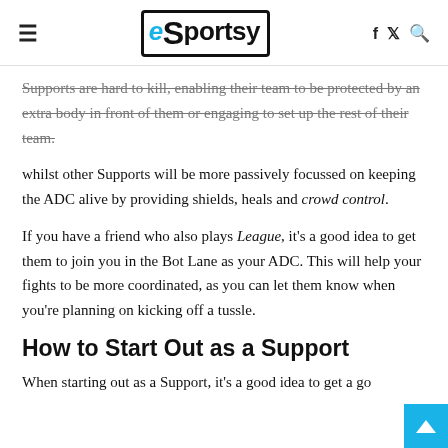eSportsy
Supports are hard to kill, enabling their team to be protected by an extra body in front of them or engaging to set up the rest of their team.
whilst other Supports will be more passively focussed on keeping the ADC alive by providing shields, heals and crowd control.
If you have a friend who also plays League, it's a good idea to get them to join you in the Bot Lane as your ADC. This will help your fights to be more coordinated, as you can let them know when you're planning on kicking off a tussle.
How to Start Out as a Support
When starting out as a Support, it's a good idea to get a go... lo... as your Relic Shield which will...